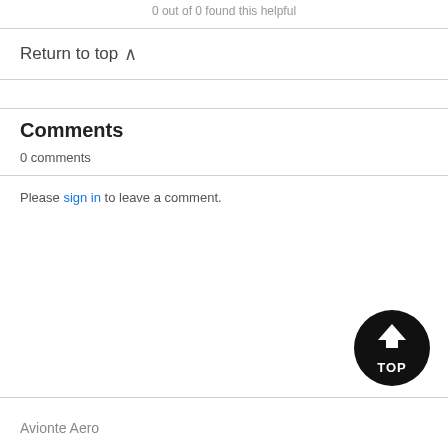0 out of 0 found this helpful
Return to top ∧
Comments
0 comments
Please sign in to leave a comment.
[Figure (logo): Black circular TOP button with upward chevron arrow]
Avionte Aero